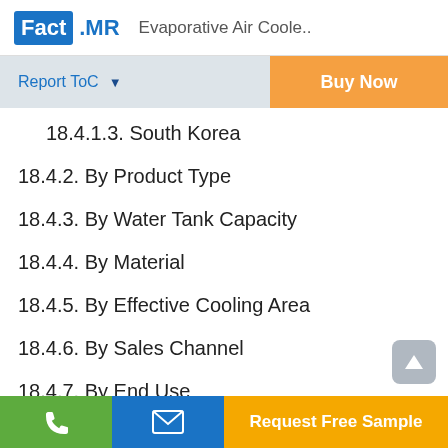Fact.MR  Evaporative Air Coole..
Report ToC
Buy Now
18.4.1.3. South Korea
18.4.2. By Product Type
18.4.3. By Water Tank Capacity
18.4.4. By Material
18.4.5. By Effective Cooling Area
18.4.6. By Sales Channel
18.4.7. By End Use
Request Free Sample